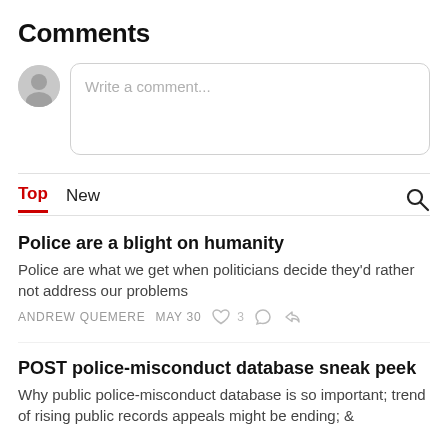Comments
[Figure (screenshot): Comment input box with avatar placeholder and 'Write a comment...' placeholder text]
Top   New
Police are a blight on humanity
Police are what we get when politicians decide they'd rather not address our problems
ANDREW QUEMERE   MAY 30   ♡ 3
POST police-misconduct database sneak peek
Why public police-misconduct database is so important; trend of rising public records appeals might be ending; &